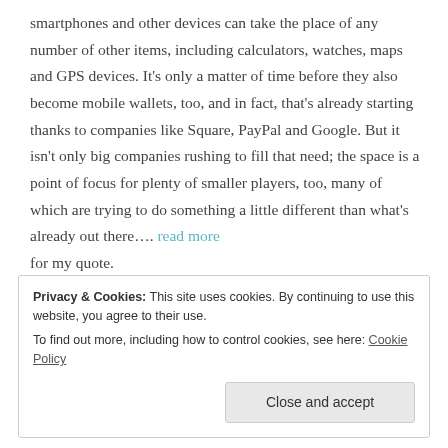smartphones and other devices can take the place of any number of other items, including calculators, watches, maps and GPS devices. It's only a matter of time before they also become mobile wallets, too, and in fact, that's already starting thanks to companies like Square, PayPal and Google. But it isn't only big companies rushing to fill that need; the space is a point of focus for plenty of smaller players, too, many of which are trying to do something a little different than what's already out there…. read more for my quote.
Privacy & Cookies: This site uses cookies. By continuing to use this website, you agree to their use. To find out more, including how to control cookies, see here: Cookie Policy